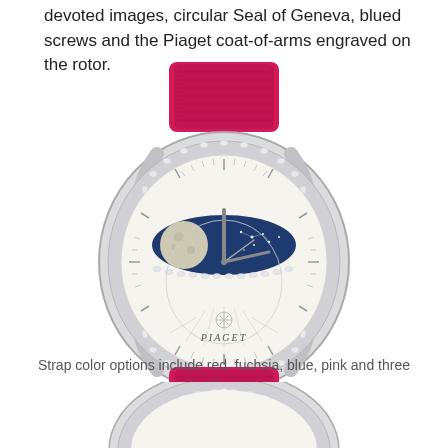devoted images, circular Seal of Geneva, blued screws and the Piaget coat-of-arms engraved on the rotor.
[Figure (photo): Piaget luxury watch with diamond-set bezel, moon phase display showing a full moon on a blue background with star constellation, white dial with PIAGET text, silver hands, and a fuchsia/red alligator leather strap.]
Strap color options include red, fuchsia, blue, pink and three others.
[Figure (photo): Partial view of Piaget watch with diamond-set bezel and navy blue alligator leather strap, showing the lower portion of the watch.]